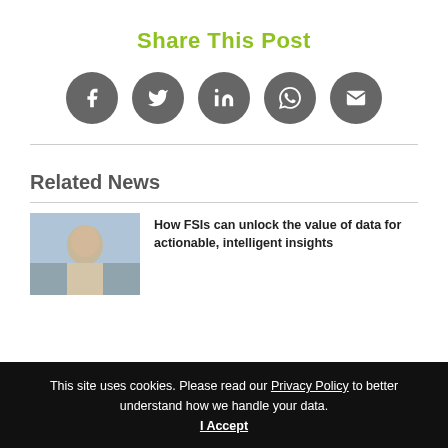Share This Post
[Figure (infographic): Five social sharing icon circles (Facebook, Twitter, LinkedIn, WhatsApp, Email) in grey]
Related News
[Figure (photo): Thumbnail photo of a man in a suit outdoors]
How FSIs can unlock the value of data for actionable, intelligent insights
This site uses cookies. Please read our Privacy Policy to better understand how we handle your data. I Accept